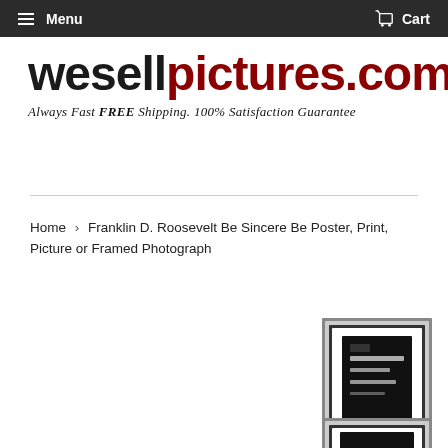Menu   Cart
[Figure (logo): wesellpictures.com logo with tagline: Always Fast FREE Shipping. 100% Satisfaction Guarantee]
Home > Franklin D. Roosevelt Be Sincere Be Poster, Print, Picture or Framed Photograph
[Figure (photo): Framed photograph product thumbnail showing a dark framed print with white mat]
[Figure (photo): Second product thumbnail partially visible at bottom]